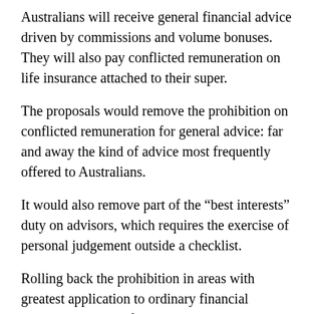Australians will receive general financial advice driven by commissions and volume bonuses. They will also pay conflicted remuneration on life insurance attached to their super.
The proposals would remove the prohibition on conflicted remuneration for general advice: far and away the kind of advice most frequently offered to Australians.
It would also remove part of the “best interests” duty on advisors, which requires the exercise of personal judgement outside a checklist.
Rolling back the prohibition in areas with greatest application to ordinary financial citizens seems indefensible.
Conflicted remuneration